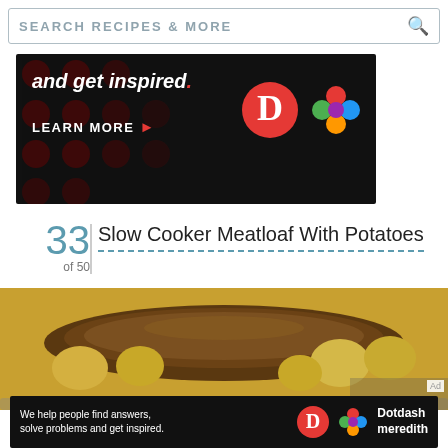SEARCH RECIPES & MORE
[Figure (screenshot): Advertisement banner: 'and get inspired.' with LEARN MORE button and Dotdash/Meredith logos on dark background with red dot pattern]
33 of 50
Slow Cooker Meatloaf With Potatoes
[Figure (photo): Photo of slow cooker meatloaf with roasted potatoes in a pan]
[Figure (screenshot): Advertisement banner: 'We help people find answers, solve problems and get inspired.' with Dotdash Meredith logo]
Ad